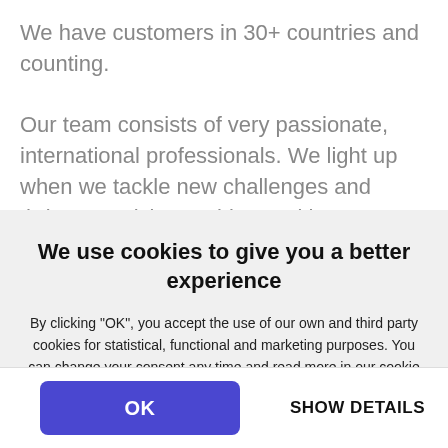We have customers in 30+ countries and counting.
Our team consists of very passionate, international professionals. We light up when we tackle new challenges and thrive on solving problems with our clients. We've built
We use cookies to give you a better experience
By clicking "OK", you accept the use of our own and third party cookies for statistical, functional and marketing purposes. You can change your consent any time and read more in our cookie and privacy policy
Only the necessary cookies
OK
SHOW DETAILS